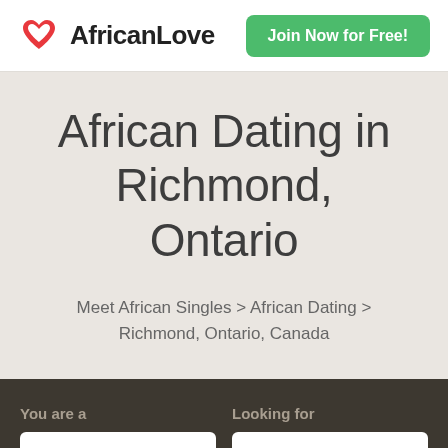AfricanLove — Join Now for Free!
African Dating in Richmond, Ontario
Meet African Singles > African Dating > Richmond, Ontario, Canada
You are a
Looking for